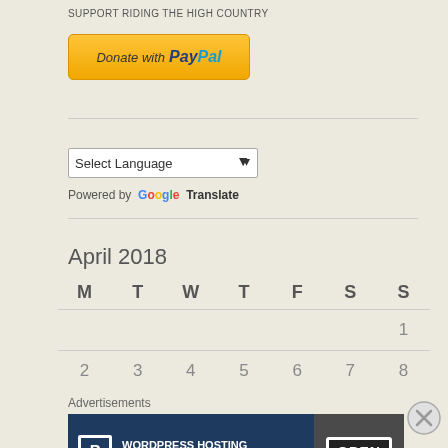SUPPORT RIDING THE HIGH COUNTRY
[Figure (other): Donate with PayPal button - orange rounded rectangle button with PayPal logo]
[Figure (other): Select Language dropdown with Google Translate branding]
April 2018
| M | T | W | T | F | S | S |
| --- | --- | --- | --- | --- | --- | --- |
|  |  |  |  |  |  | 1 |
| 2 | 3 | 4 | 5 | 6 | 7 | 8 |
Advertisements
[Figure (other): WordPress Hosting That Means Business advertisement banner with OPEN sign image]